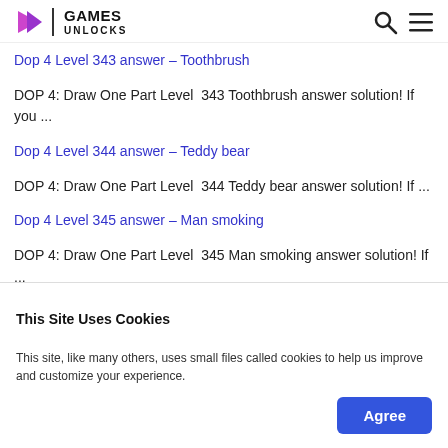Games Unlocks
Dop 4 Level 343 answer – Toothbrush
DOP 4: Draw One Part Level 343 Toothbrush answer solution! If you ...
Dop 4 Level 344 answer – Teddy bear
DOP 4: Draw One Part Level 344 Teddy bear answer solution! If ...
Dop 4 Level 345 answer – Man smoking
DOP 4: Draw One Part Level 345 Man smoking answer solution! If ...
Dop 4 Level 346 answer – Snow Angel
This Site Uses Cookies
This site, like many others, uses small files called cookies to help us improve and customize your experience.